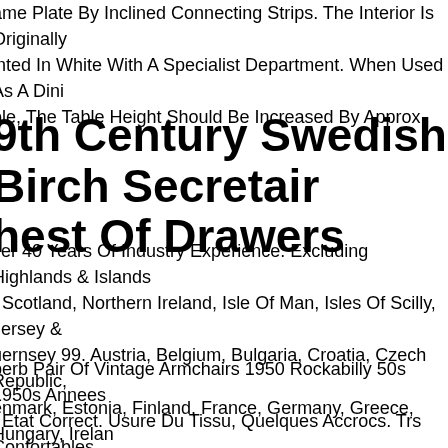ame Plate By Inclined Connecting Strips. The Interior Is Originally inted In White With A Specialist Department. When Used As A Dini ble, The Table Height Should Be Increased By Approx.
9th Century Swedish Birch Secretair hest Of Drawers
ver 40 Years Of Industry Experience. Excluding Highlands & Islands f Scotland, Northern Ireland, Isle Of Man, Isles Of Scilly, Jersey & uernsey 99. Austria, Belgium, Bulgaria, Croatia, Czech Republic, enmark, Estonia, Finland, France, Germany, Greece, Hungary, Irelan ly, Latvia, Lithuania, Luxembourg, Netherlands, Poland, Portugal, omania, Slovakia, Slovenia, Spain, Sweden.
perb Pair Of Vintage Armchairs 1950 Rockabilly 50s 1950s Annees . Etat Correct. Usure Du Tissu, Quelques Accrocs. Trs Confortables. auteur 88,5 Cm. Hauteur Assise 35 Cm. Largeur 70 Cm. Profondeur otale 70 Cm. Profondeur Assise 49 Cm.